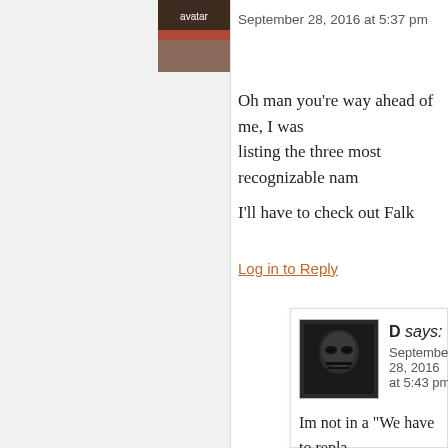September 28, 2016 at 5:37 pm
Oh man you're way ahead of me, I was listing the three most recognizable nam
I'll have to check out Falk
Log in to Reply
D says:
September 28, 2016 at 5:43 pm
Im not in a “We have to repla mode yet, shit keeps going th the year. I do believe this is a higher priority for draft, and the year pans out it could be draft to 1st round.